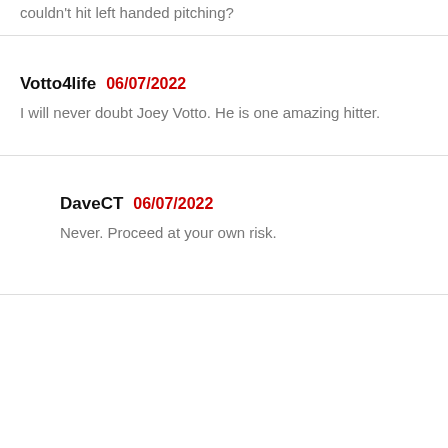couldn't hit left handed pitching?
Votto4life 06/07/2022
I will never doubt Joey Votto. He is one amazing hitter.
DaveCT 06/07/2022
Never. Proceed at your own risk.